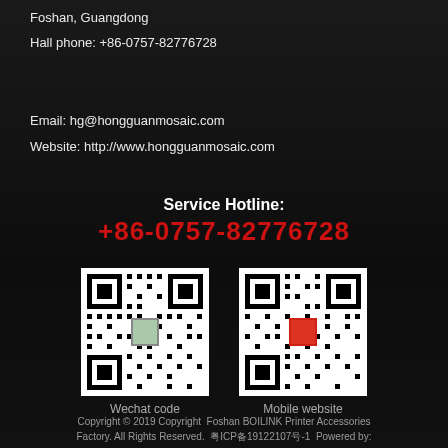Foshan, Guangdong
Hall phone: +86-0757-82776728
Email: hg@hongguanmosaic.com
Website: http://www.hongguanmosaic.com
Service Hotline: +86-0757-82776728
[Figure (other): QR code labeled Wechat code]
Wechat code
[Figure (other): QR code labeled Mobile website]
Mobile website
Copyright © 2019 Copyright Foshan BOILINK Printer Accessories Factory. All Rights Reserved. 粤ICP备19122107号-1 Powered by: